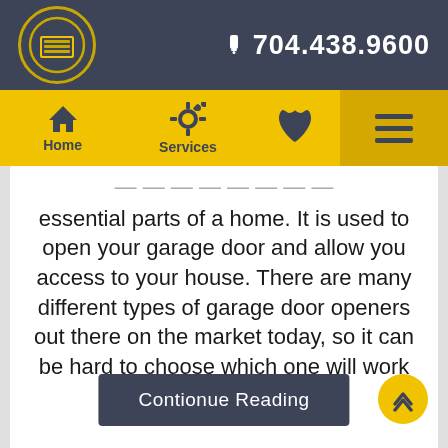[Figure (logo): Concord Garage Door logo - circular badge with garage door icon]
📱 704.438.9600
[Figure (screenshot): Navigation bar with Home, Services icons and phone/hamburger menu]
essential parts of a home. It is used to open your garage door and allow you access to your house. There are many different types of garage door openers out there on the market today, so it can be hard to choose which one will work best [...]
Contionue Reading